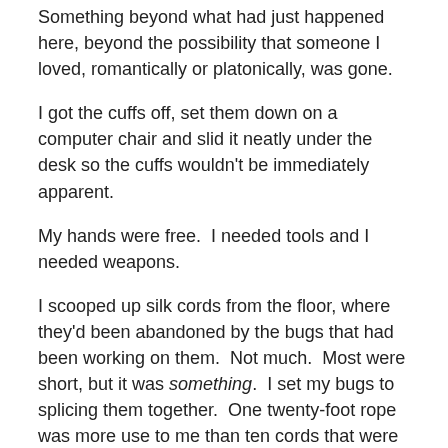Something beyond what had just happened here, beyond the possibility that someone I loved, romantically or platonically, was gone.
I got the cuffs off, set them down on a computer chair and slid it neatly under the desk so the cuffs wouldn’t be immediately apparent.
My hands were free.  I needed tools and I needed weapons.
I scooped up silk cords from the floor, where they'd been abandoned by the bugs that had been working on them.  Not much.  Most were short, but it was something.  I set my bugs to splicing them together.  One twenty-foot rope was more use to me than ten cords that were each two or three feet long.